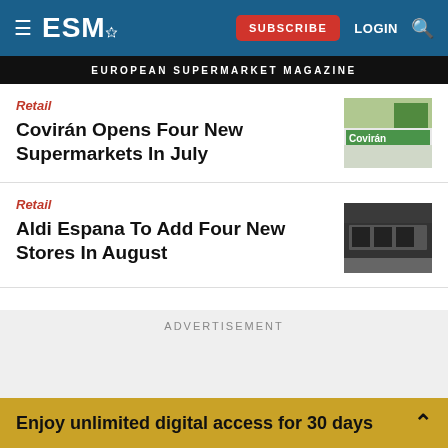ESM — SUBSCRIBE LOGIN
EUROPEAN SUPERMARKET MAGAZINE
Retail
Covirán Opens Four New Supermarkets In July
[Figure (photo): Exterior photo of a Covirán supermarket with green branding]
Retail
Aldi Espana To Add Four New Stores In August
[Figure (photo): Exterior photo of an Aldi Espana store, modern dark building]
ADVERTISEMENT
Enjoy unlimited digital access for 30 days